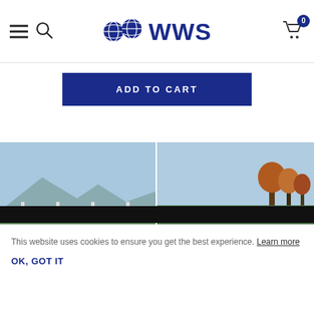WWS (World Wide Sires) — Navigation header with hamburger menu, search icon, logo, and cart with 0 items
ADD TO CART
[Figure (photo): Black and white dairy cow (Holstein) photographed outdoors, showing udder and side profile, grazing or posing in a white-fenced pasture with mountains in background]
[Figure (photo): Black and white dairy cow (Holstein) photographed outdoors in a green field with trees in the background, side profile view]
SUPERSIRE
LOGISTICS
This website uses cookies to ensure you get the best experience. Learn more
OK, GOT IT